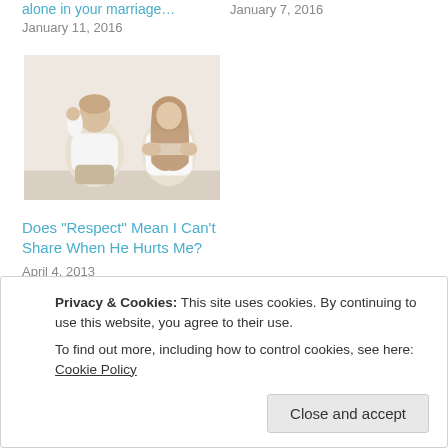alone in your marriage… January 11, 2016
January 7, 2016
[Figure (photo): A couple sitting back to back, the man with head down and woman with arms crossed looking away, suggesting relationship conflict.]
Does “Respect” Mean I Can’t Share When He Hurts Me?
April 4, 2013
Privacy & Cookies: This site uses cookies. By continuing to use this website, you agree to their use.
To find out more, including how to control cookies, see here: Cookie Policy
Close and accept